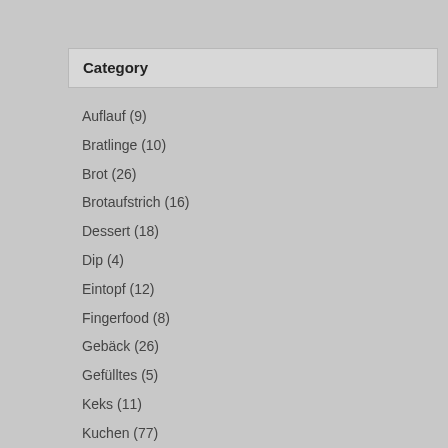Category
Auflauf (9)
Bratlinge (10)
Brot (26)
Brotaufstrich (16)
Dessert (18)
Dip (4)
Eintopf (12)
Fingerfood (8)
Gebäck (26)
Gefülltes (5)
Keks (11)
Kuchen (77)
Nudeln (21)
Pesto (8)
Pfannengericht (12)
Pizza (9)
Quiche (4)
Reis (5)
Salat (8)
Sauce (7)